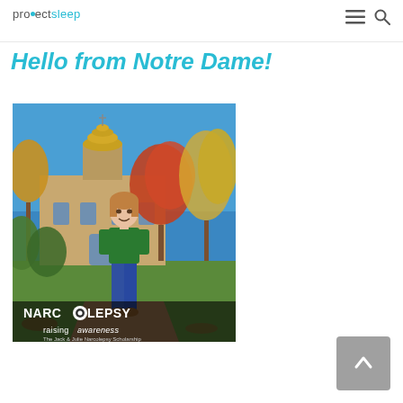projectsleep
Hello from Notre Dame!
[Figure (photo): A young woman wearing a green narcolepsy awareness t-shirt standing in front of the University of Notre Dame's golden dome building during autumn, with colorful red and yellow trees in the background. The photo has an overlay text at the bottom reading 'NARCOLEPSY raising awareness' with a Jack & Julie Narcolepsy Scholarship logo.]